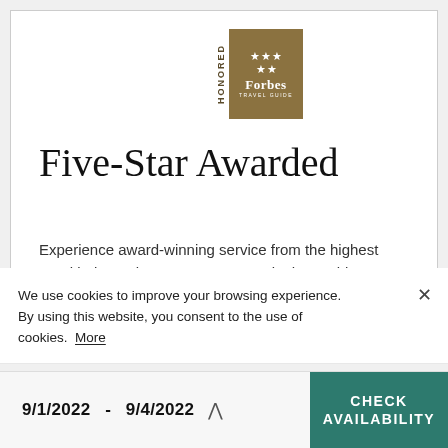[Figure (logo): Forbes Travel Guide Five-Star award badge with golden background, five stars arranged in two rows, and 'Forbes Travel Guide' text. 'HONORED' text appears vertically to the left of the badge.]
Five-Star Awarded
Experience award-winning service from the highest rated independent resort company in the world.
We use cookies to improve your browsing experience. By using this website, you consent to the use of cookies. More
9/1/2022  -  9/4/2022
CHECK AVAILABILITY